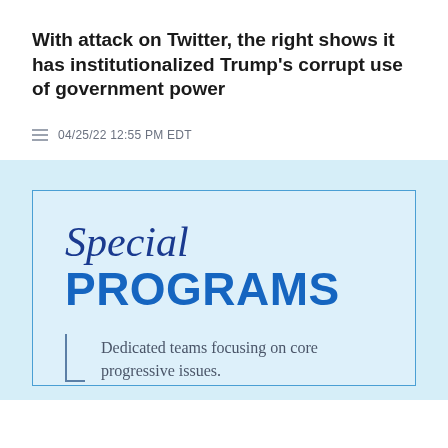With attack on Twitter, the right shows it has institutionalized Trump's corrupt use of government power
04/25/22 12:55 PM EDT
[Figure (infographic): Advertisement box with light blue background and blue border. Contains 'Special PROGRAMS' heading and text 'Dedicated teams focusing on core progressive issues.' with a bracket decoration.]